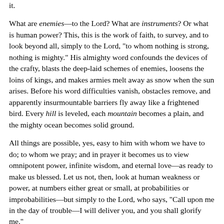it.
What are enemies—to the Lord? What are instruments? Or what is human power? This, this is the work of faith, to survey, and to look beyond all, simply to the Lord, "to whom nothing is strong, nothing is mighty." His almighty word confounds the devices of the crafty, blasts the deep-laid schemes of enemies, loosens the loins of kings, and makes armies melt away as snow when the sun arises. Before his word difficulties vanish, obstacles remove, and apparently insurmountable barriers fly away like a frightened bird. Every hill is leveled, each mountain becomes a plain, and the mighty ocean becomes solid ground.
All things are possible, yes, easy to him with whom we have to do; to whom we pray; and in prayer it becomes us to view omnipotent power, infinite wisdom, and eternal love—as ready to make us blessed. Let us not, then, look at human weakness or power, at numbers either great or small, at probabilities or improbabilities—but simply to the Lord, who says, "Call upon me in the day of trouble—I will deliver you, and you shall glorify me."